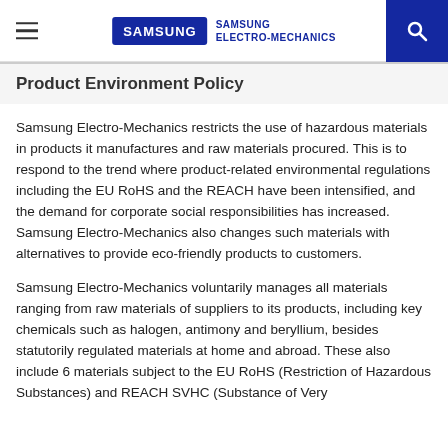SAMSUNG ELECTRO-MECHANICS
Product Environment Policy
Samsung Electro-Mechanics restricts the use of hazardous materials in products it manufactures and raw materials procured. This is to respond to the trend where product-related environmental regulations including the EU RoHS and the REACH have been intensified, and the demand for corporate social responsibilities has increased. Samsung Electro-Mechanics also changes such materials with alternatives to provide eco-friendly products to customers.
Samsung Electro-Mechanics voluntarily manages all materials ranging from raw materials of suppliers to its products, including key chemicals such as halogen, antimony and beryllium, besides statutorily regulated materials at home and abroad. These also include 6 materials subject to the EU RoHS (Restriction of Hazardous Substances) and REACH SVHC (Substance of Very